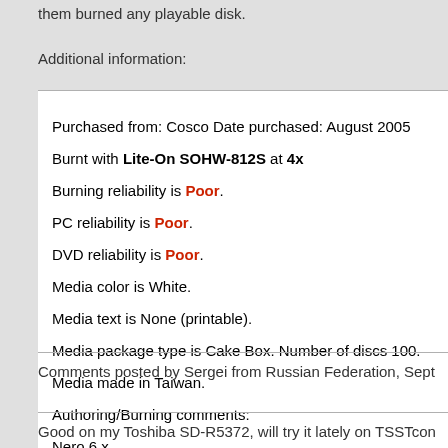them burned any playable disk.
Additional information:
Purchased from: Cosco Date purchased: August 2005
Burnt with Lite-On SOHW-812S at 4x
Burning reliability is Poor.
PC reliability is Poor.
DVD reliability is Poor.
Media color is White.
Media text is None (printable).
Media package type is Cake Box. Number of discs 100.
Media made in Taiwan.
Authoring/Burning comments:
Nero 6.x
Comments posted by Sergei from Russian Federation, Sept
Good on my Toshiba SD-R5372, will try it lately on TSSTcon